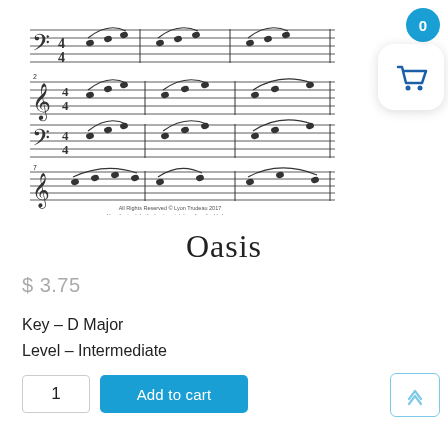[Figure (illustration): Sheet music preview showing three rows of piano grand staff notation with curved slur markings, notes, and time signatures. Copyright text at bottom reads: All Rights Reserved © Lyon Trudeau 2017. Unauthorized duplication is a violation of applicable laws.]
Oasis
$ 3.75
Key – D Major
Level – Intermediate
1
Add to cart